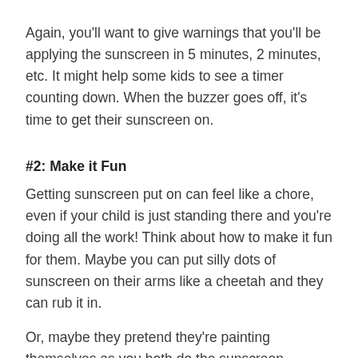Again, you'll want to give warnings that you'll be applying the sunscreen in 5 minutes, 2 minutes, etc. It might help some kids to see a timer counting down. When the buzzer goes off, it's time to get their sunscreen on.
#2: Make it Fun
Getting sunscreen put on can feel like a chore, even if your child is just standing there and you're doing all the work! Think about how to make it fun for them. Maybe you can put silly dots of sunscreen on their arms like a cheetah and they can rub it in.
Or, maybe they pretend they're painting themselves as you both do the sunscreen together.